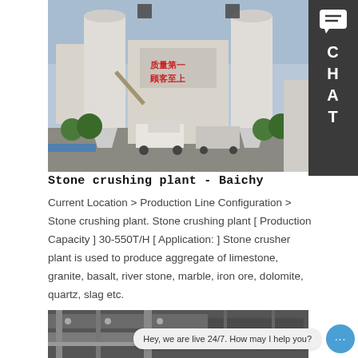[Figure (photo): Industrial stone crushing plant facility with large white silos/hoppers, concrete structures, trucks, and Chinese text on the building reading 质量第一 顾客至上]
Stone crushing plant - Baichy
Current Location > Production Line Configuration > Stone crushing plant. Stone crushing plant [ Production Capacity ] 30-550T/H [ Application: ] Stone crusher plant is used to produce aggregate of limestone, granite, basalt, river stone, marble, iron ore, dolomite, quartz, slag etc.
Learn More
[Figure (photo): Close-up photo of stone crushing machinery parts and metal components]
Hey, we are live 24/7. How may I help you?